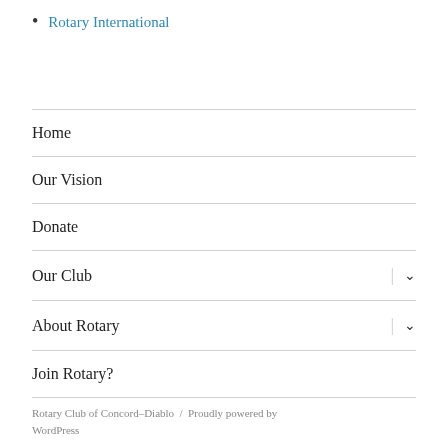Rotary International
Home
Our Vision
Donate
Our Club
About Rotary
Join Rotary?
Rotary Club of Concord–Diablo  /  Proudly powered by WordPress